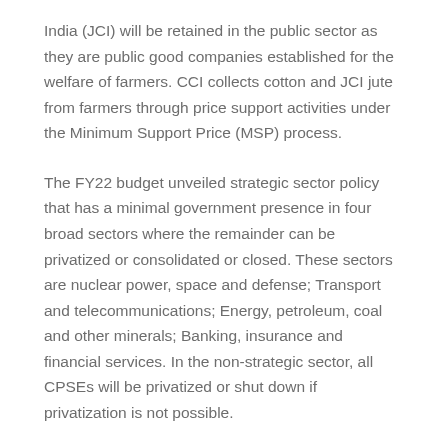India (JCI) will be retained in the public sector as they are public good companies established for the welfare of farmers. CCI collects cotton and JCI jute from farmers through price support activities under the Minimum Support Price (MSP) process.
The FY22 budget unveiled strategic sector policy that has a minimal government presence in four broad sectors where the remainder can be privatized or consolidated or closed. These sectors are nuclear power, space and defense; Transport and telecommunications; Energy, petroleum, coal and other minerals; Banking, insurance and financial services. In the non-strategic sector, all CPSEs will be privatized or shut down if privatization is not possible.
Filed under: Business